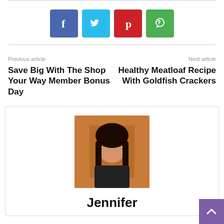[Figure (other): Social share buttons: Facebook (blue), Twitter (light blue), Pinterest (red), WhatsApp (green)]
Previous article
Save Big With The Shop Your Way Member Bonus Day
Next article
Healthy Meatloaf Recipe With Goldfish Crackers
[Figure (photo): Photo of Jennifer, a woman with long dark hair smiling, against an orange background]
Jennifer